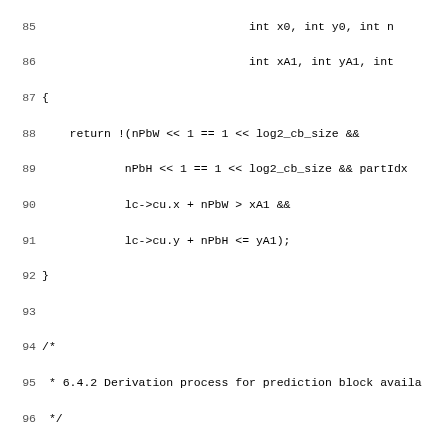[Figure (screenshot): Source code listing showing C code for HEVC prediction block availability functions. Lines 85-116 visible. Contains functions same_prediction_block and check_prediction_block_available and isDiffMER with line numbers on left margin.]